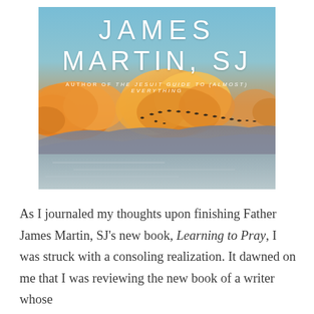[Figure (illustration): Book cover for 'Learning to Pray' by James Martin, SJ. Shows a scenic sky with golden-orange clouds at sunset/sunrise, birds flying in silhouette across the middle distance, mountains in the background, and a calm reflective body of water in the foreground. The author's name 'JAMES MARTIN, SJ' appears in large white letters at the top, with the subtitle 'AUTHOR OF THE JESUIT GUIDE TO (ALMOST) EVERYTHING' below.]
As I journaled my thoughts upon finishing Father James Martin, SJ's new book, Learning to Pray, I was struck with a consoling realization. It dawned on me that I was reviewing the new book of a writer whose